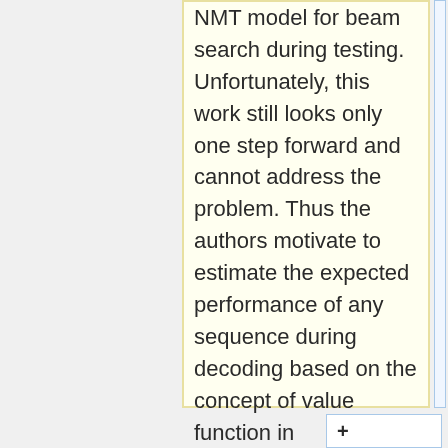NMT model for beam search during testing. Unfortunately, this work still looks only one step forward and cannot address the problem. Thus the authors motivate to estimate the expected performance of any sequence during decoding based on the concept of value function in reinforcement learning.